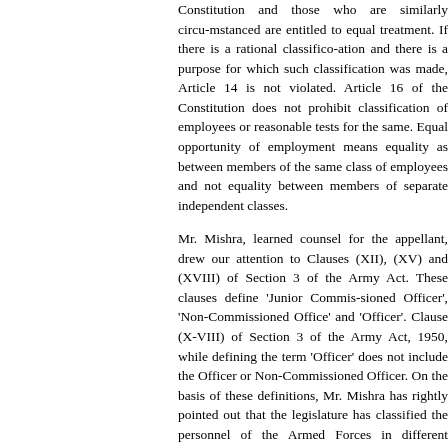Constitution and those who are similarly circumstanced are entitled to equal treatment. If there is a rational classification and there is a purpose for which such classification was made, Article 14 is not violated. Article 16 of the Constitution does not prohibit classification of employees or reasonable tests for the same. Equal opportunity of employment means equality as between members of the same class of employees and not equality between members of separate independent classes.
Mr. Mishra, learned counsel for the appellant, drew our attention to Clauses (XII), (XV) and (XVIII) of Section 3 of the Army Act. These clauses define 'Junior Commissioned Officer', 'Non-Commissioned Office' and 'Officer'. Clause (XVIII) of Section 3 of the Army Act, 1950, while defining the term 'Officer' does not include the Officer or Non-Commissioned Officer. On the basis of these definitions, Mr. Mishra has rightly pointed out that the legislature has classified the personnel of the Armed Forces in different categories and this classification has not been challenged. It is also clear that legislature while creating different classes of officers, has differentiated them on the basis of the requirement of army service and, therefore, this classification cannot be said to be arbitrary. The fact that the privileges granted to these officers are different, justifies that. We are of the opinion that there is no question of violation of Articles 14 and 16 of the Constitution.
Now the question is whether the impugned order in Army Order No. 11 of 1987 is discriminatory. We quote below the relevant part of the order as quoted in the impugned judgment. The relevant paras 1 and 2 are given below :- "1. All regular Officers are eligible for the grant of extra leave known as Study Leave for